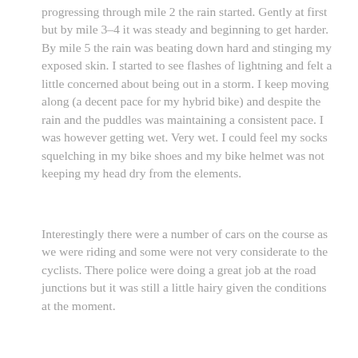progressing through mile 2 the rain started. Gently at first but by mile 3–4 it was steady and beginning to get harder. By mile 5 the rain was beating down hard and stinging my exposed skin. I started to see flashes of lightning and felt a little concerned about being out in a storm. I keep moving along (a decent pace for my hybrid bike) and despite the rain and the puddles was maintaining a consistent pace. I was however getting wet. Very wet. I could feel my socks squelching in my bike shoes and my bike helmet was not keeping my head dry from the elements.
Interestingly there were a number of cars on the course as we were riding and some were not very considerate to the cyclists. There police were doing a great job at the road junctions but it was still a little hairy given the conditions at the moment.